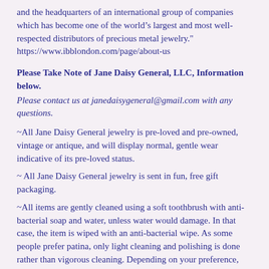and the headquarters of an international group of companies which has become one of the world’s largest and most well-respected distributors of precious metal jewelry."
https://www.ibblondon.com/page/about-us
Please Take Note of Jane Daisy General, LLC, Information below.
Please contact us at janedaisygeneral@gmail.com with any questions.
~All Jane Daisy General jewelry is pre-loved and pre-owned, vintage or antique, and will display normal, gentle wear indicative of its pre-loved status.
~ All Jane Daisy General jewelry is sent in fun, free gift packaging.
~All items are gently cleaned using a soft toothbrush with anti-bacterial soap and water, unless water would damage. In that case, the item is wiped with an anti-bacterial wipe. As some people prefer patina, only light cleaning and polishing is done rather than vigorous cleaning. Depending on your preference,